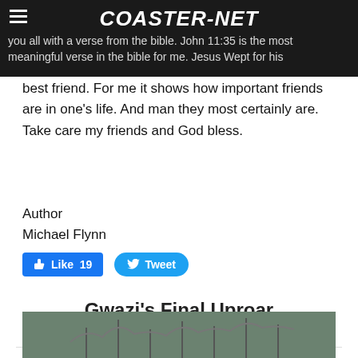COASTER-NET
you all with a verse from the bible. John 11:35 is the most meaningful verse in the bible for me. Jesus Wept for his best friend. For me it shows how important friends are in one's life. And man they most certainly are. Take care my friends and God bless.
Author
Michael Flynn
[Figure (screenshot): Facebook Like button showing 19 likes and a Twitter Tweet button]
Gwazi’s Final Uproar
3/3/2019
[Figure (photo): Partial photo of a roller coaster structure]